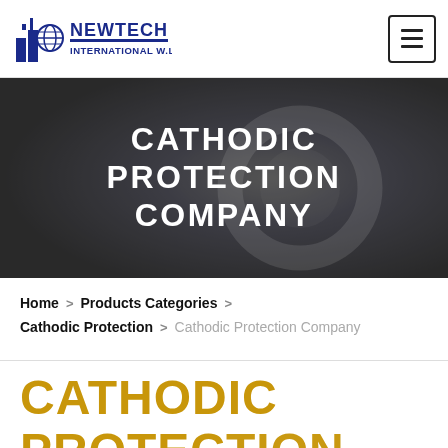[Figure (logo): Newtech International W.L.L. company logo with blue text and icon]
CATHODIC PROTECTION COMPANY
Home > Products Categories > Cathodic Protection > Cathodic Protection Company
CATHODIC PROTECTION